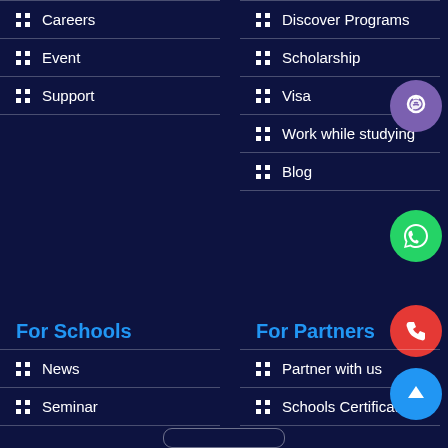Careers
Event
Support
Discover Programs
Scholarship
Visa
Work while studying
Blog
[Figure (logo): Viber purple circle button with phone/wifi icon]
[Figure (logo): WhatsApp green circle button with chat bubble icon]
[Figure (logo): Phone red circle button with phone handset icon]
For Schools
For Partners
News
Seminar
Partner with us
Schools Certificates
[Figure (logo): Blue circle up-arrow scroll-to-top button]